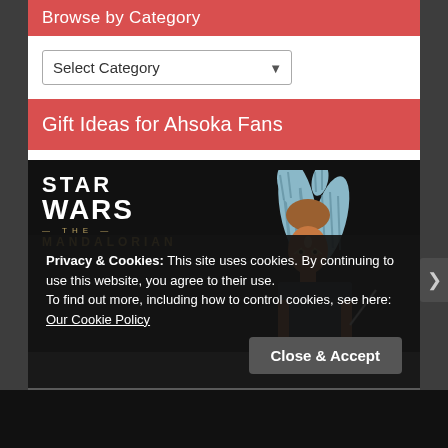Browse by Category
Select Category
Gift Ideas for Ahsoka Fans
[Figure (photo): Star Wars The Mandalorian logo with Ahsoka Tano figure in costume against dark background]
Privacy & Cookies: This site uses cookies. By continuing to use this website, you agree to their use.
To find out more, including how to control cookies, see here: Our Cookie Policy
Close & Accept